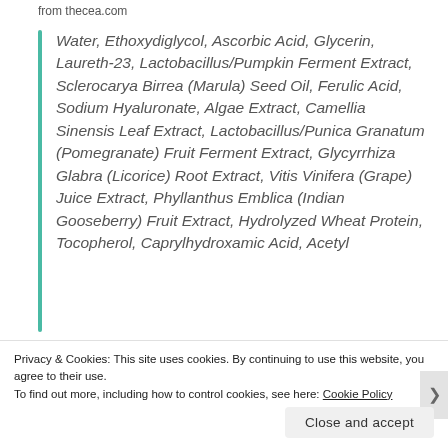from thecea.com
Water, Ethoxydiglycol, Ascorbic Acid, Glycerin, Laureth-23, Lactobacillus/Pumpkin Ferment Extract, Sclerocarya Birrea (Marula) Seed Oil, Ferulic Acid, Sodium Hyaluronate, Algae Extract, Camellia Sinensis Leaf Extract, Lactobacillus/Punica Granatum (Pomegranate) Fruit Ferment Extract, Glycyrrhiza Glabra (Licorice) Root Extract, Vitis Vinifera (Grape) Juice Extract, Phyllanthus Emblica (Indian Gooseberry) Fruit Extract, Hydrolyzed Wheat Protein, Tocopherol, Caprylhydroxamic Acid, Acetyl
Privacy & Cookies: This site uses cookies. By continuing to use this website, you agree to their use.
To find out more, including how to control cookies, see here: Cookie Policy
Close and accept